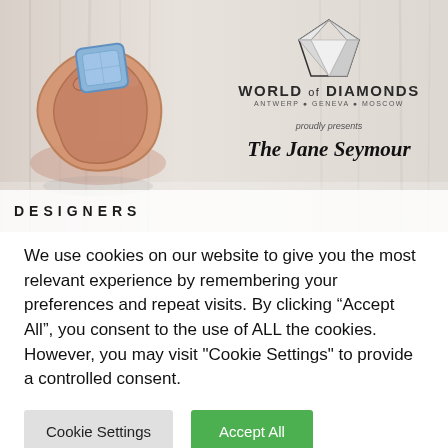[Figure (photo): World of Diamonds banner showing a rose gold floral ring with blue gemstone on the left, and the World of Diamonds logo with diamond icon, brand name, tagline 'ANTWERP • GENEVA • MOSCOW', 'proudly presents', and 'The Jane Seymour' in italic script on the right. A 'DESIGNERS' label bar appears at the bottom of the banner.]
We use cookies on our website to give you the most relevant experience by remembering your preferences and repeat visits. By clicking "Accept All", you consent to the use of ALL the cookies. However, you may visit "Cookie Settings" to provide a controlled consent.
Cookie Settings
Accept All